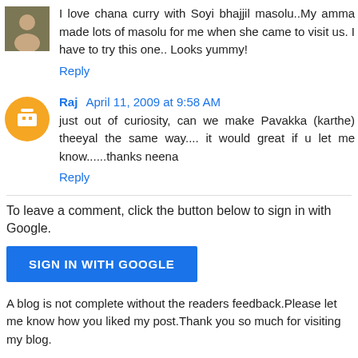I love chana curry with Soyi bhajjil masolu..My amma made lots of masolu for me when she came to visit us. I have to try this one.. Looks yummy!
Reply
Raj  April 11, 2009 at 9:58 AM
just out of curiosity, can we make Pavakka (karthe) theeyal the same way.... it would great if u let me know......thanks neena
Reply
To leave a comment, click the button below to sign in with Google.
SIGN IN WITH GOOGLE
A blog is not complete without the readers feedback.Please let me know how you liked my post.Thank you so much for visiting my blog.